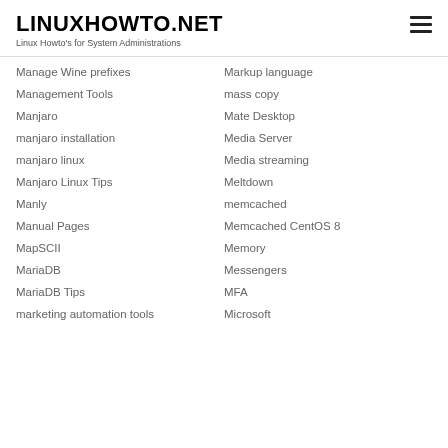LINUXHOWTO.NET
Linux Howto's for System Administrations
Manage Wine prefixes
Management Tools
Manjaro
manjaro installation
manjaro linux
Manjaro Linux Tips
Manly
Manual Pages
MapSCII
MariaDB
MariaDB Tips
marketing automation tools
Markup language
mass copy
Mate Desktop
Media Server
Media streaming
Meltdown
memcached
Memcached CentOS 8
Memory
Messengers
MFA
Microsoft